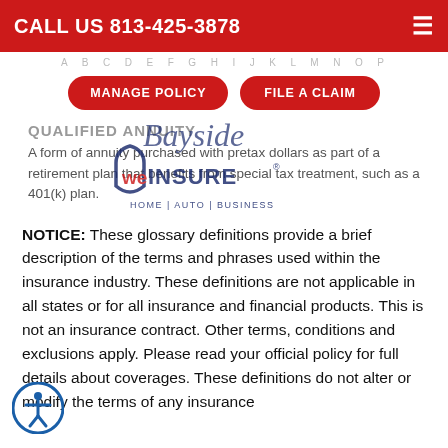CALL US 813-425-3878
[Figure (screenshot): Navigation alphabet letters A B C D E F G H I J K L M N O P]
[Figure (other): Two red pill-shaped buttons: MANAGE POLICY and FILE A CLAIM]
QUALIFIED ANNUITY
A form of annuity purchased with pretax dollars as part of a retirement plan that benefits from special tax treatment, such as a 401(k) plan.
[Figure (logo): Bayside We Insure logo overlay — script Bayside above We INSURE with shield and HOME | AUTO | BUSINESS tagline]
NOTICE: These glossary definitions provide a brief description of the terms and phrases used within the insurance industry. These definitions are not applicable in all states or for all insurance and financial products. This is not an insurance contract. Other terms, conditions and exclusions apply. Please read your official policy for full details about coverages. These definitions do not alter or modify the terms of any insurance